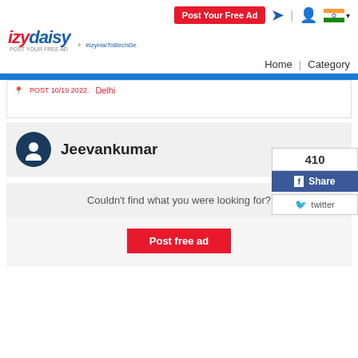[Figure (logo): izydaisy logo with red italic text and blue accent, tagline 'POST YOUR FREE AD' and '#IzyHaiToBechDe']
Post Your Free Ad
Home | Category
POST 10/19 2022.  Delhi
410
Share
twitter
Jeevankumar
Couldn't find what you were looking for?
Post free ad